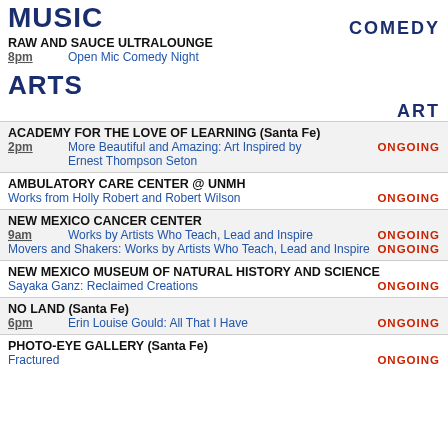MUSIC
COMEDY
RAW AND SAUCE ULTRALOUNGE
8pm   Open Mic Comedy Night
ARTS
ART
ACADEMY FOR THE LOVE OF LEARNING (Santa Fe)
2pm   More Beautiful and Amazing: Art Inspired by Ernest Thompson Seton   ONGOING
AMBULATORY CARE CENTER @ UNMH
Works from Holly Robert and Robert Wilson   ONGOING
NEW MEXICO CANCER CENTER
9am   Works by Artists Who Teach, Lead and Inspire   ONGOING
Movers and Shakers: Works by Artists Who Teach, Lead and Inspire   ONGOING
NEW MEXICO MUSEUM OF NATURAL HISTORY AND SCIENCE
Sayaka Ganz: Reclaimed Creations   ONGOING
NO LAND (Santa Fe)
6pm   Erin Louise Gould: All That I Have   ONGOING
PHOTO-EYE GALLERY (Santa Fe)
Fractured   ONGOING